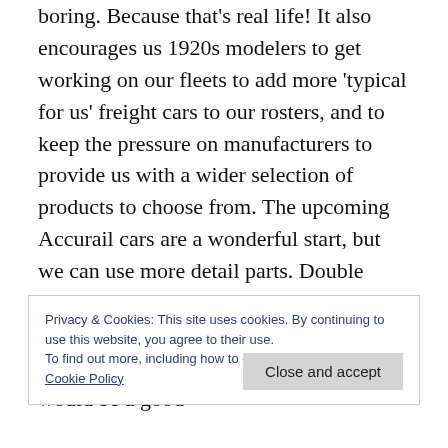boring. Because that's real life! It also encourages us 1920s modelers to get working on our fleets to add more 'typical for us' freight cars to our rosters, and to keep the pressure on manufacturers to provide us with a wider selection of products to choose from. The upcoming Accurail cars are a wonderful start, but we can use more detail parts. Double sheathed boxcars are easy to scratchbuild, so an assortment of good hardware would be most welcome. Camel door hardware would be a good
Privacy & Cookies: This site uses cookies. By continuing to use this website, you agree to their use.
To find out more, including how to control cookies, see here:
Cookie Policy
Close and accept